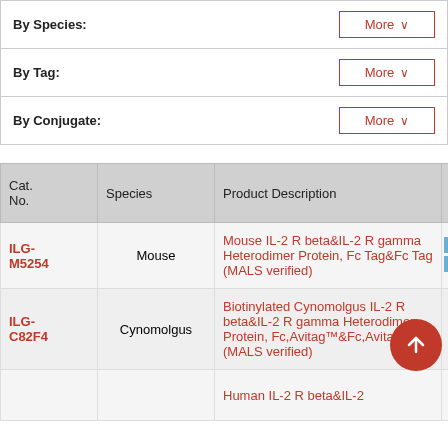| By Species: |  | More ∨ |
| --- | --- | --- |
| By Tag: |  | More ∨ |
| --- | --- | --- |
| By Conjugate: |  | More ∨ |
| --- | --- | --- |
| Cat. No. | Species | Product Description | Stru |
| --- | --- | --- | --- |
| ILG-M5254 | Mouse | Mouse IL-2 R beta&IL-2 R gamma Heterodimer Protein, Fc Tag&Fc Tag (MALS verified) | IL-
IL- |
| ILG-C82F4 | Cynomolgus | Biotinylated Cynomolgus IL-2 R beta&IL-2 R gamma Heterodimer Protein, Fc,Avitag™&Fc,Avitag™ (MALS verified) |  |
|  |  | Human IL-2 R beta&IL-2… |  |